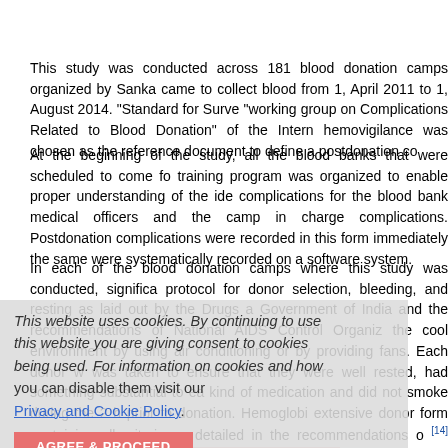This study was conducted across 181 blood donation camps organized by Sanka came to collect blood from 1, April 2011 to 1, August 2014. "Standard for Surve "working group on Complications Related to Blood Donation" of the Intern hemovigilance was chosen as the reference document to define a postdonation co
At the beginning of the study, all the blood banks that were scheduled to come fo training program was organized to enable proper understanding of the ide complications for the blood bank medical officers and the camp in charge complications. Postdonation complications were recorded in this form immediately the same were systematically recorded on a software system.
In each of the blood donation camps where this study was conducted, significa protocol for donor selection, bleeding, and resting as laid out by the Drugs a Government of India and the recommendations of National AIDS Control Organiz the cool environment by using air conditioning or by providing fans. Each donor w was taken to ensure that they were well rested, had something substantial to ea kind of medication and did not smoke during the 2 h prior to donation. Hemoglobi extensive donor form containing all criteria as detailed in the recommendations o [14] were utilized across all camps. The form included columns for indicating any were carried out on beds while the donors lay flat. Donors were also given minimu venue for another 5-10 min postdonation and were given a juice and packet of bis Each donor was provided with a card which had the emergency numbers to be c contact in the organisations where the camps happened were also requested to